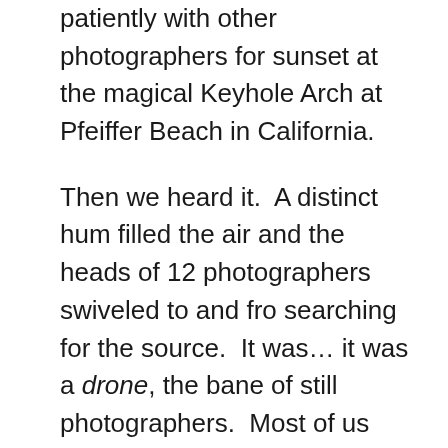patiently with other photographers for sunset at the magical Keyhole Arch at Pfeiffer Beach in California.
Then we heard it.  A distinct hum filled the air and the heads of 12 photographers swiveled to and fro searching for the source.  It was… it was a drone, the bane of still photographers.  Most of us assumed the drone operator would be polite enough not to fly through our shot.  Flying above us was fine, but not through our